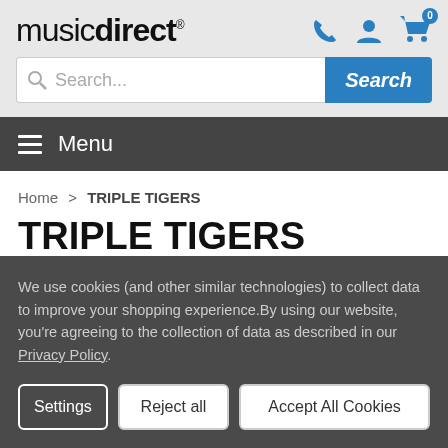music direct
Search...
Menu
Home > TRIPLE TIGERS
TRIPLE TIGERS
We use cookies (and other similar technologies) to collect data to improve your shopping experience.By using our website, you're agreeing to the collection of data as described in our Privacy Policy.
Settings | Reject all | Accept All Cookies